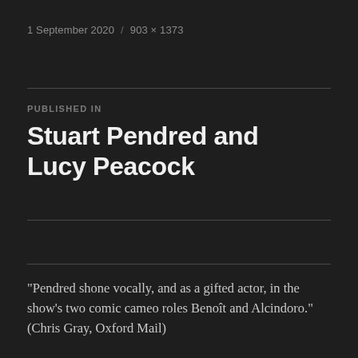1 September 2020 / 903 × 1373
PUBLISHED IN
Stuart Pendred and Lucy Peacock
“Pendred shone vocally, and as a gifted actor, in the show’s two comic cameo roles Benoît and Alcindoro.”
(Chris Gray, Oxford Mail)